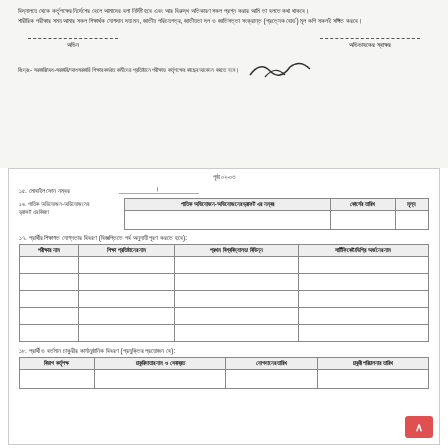বিদ্যালয়ে থেকে কর্তৃপক্ষের নির্দেশের বেলে আমাদের বলা নির্দিষ্ট হবে এবং আর বিরুদ্ধ অতিকারণ সকল প্রশ্ন করার আমি তা বলতে কথা থাকবে। শারীরিক পরীক্ষার সময় আমার সকল শিক্ষার্থক যোগদান দয়া মন, জাতীয় পরিচয়পত্র, জাতীয় দল ও জাতিসত্তা সংক্রান্ত (প্রত্যেক বোর্ড) মূল কপি সকলই সঙ্গিত করবে।
অভিন
অভিভাবকের স্বাক্ষর
বিঃদ্রঃ- সরকারি/অধ-সরকারি/আধসরকারি শিক্ষার কর্মরত কর্মীদের প্রতিষ্ঠানে পরীক্ষায় কর্তৃপক্ষের কাছের আবেদন করতে হবে।
পৃষ্ঠা ০২-০৩
১৫. মোবাইল ফোন নম্বর
১৬. পাতিক অভিযোজন-অভিযোজনের ড্রাফট এর বিবরণ
| পাতিক অভিযোজন-অভিযোজনের ড্রাফট এর নম্বর | কোর্সের তারিখ | মূল্য |
| --- | --- | --- |
|  |  |  |
১৭. প্রার্থীর শিক্ষাগত যোগ্যতার বিবরণ (বিজ্ঞপ্তিতে পর্ব অনুযায়ী পূরণ করতে হবে):
| পরীক্ষার নাম | শিক্ষা প্রতিষ্ঠানের নাম | প্রথম বিশ্ববিদ্যালয়/ বিভিন্ন | সার্টিফিকেট/ডিগ্রি অর্জনের নাম |
| --- | --- | --- | --- |
|  |  |  |  |
|  |  |  |  |
|  |  |  |  |
|  |  |  |  |
|  |  |  |  |
১৮. প্রার্থী ও বর্তমান চাকুরীর কার্যানুষ্ঠানিক বিবরণ (প্রযুক্তির প্রয়োজন বে):
| বিভাগ কর্তৃপক্ষ | চাকুরিদাতার নাম ও সেবাব্রত | যোগদানের তারিখ | চাকুরী পরিচালনার তারিখ |
| --- | --- | --- | --- |
|  |  |  |  |